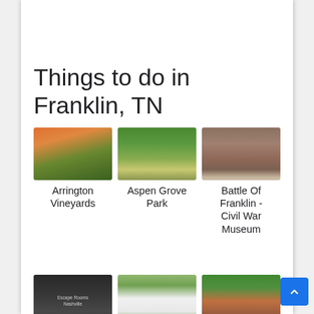Things to do in Franklin, TN
[Figure (photo): Arrington Vineyards - aerial view of vineyard rows with orange sunset sky]
Arrington Vineyards
[Figure (photo): Aspen Grove Park - playground equipment and picnic table on green grass]
Aspen Grove Park
[Figure (photo): Battle Of Franklin - Civil War Museum - close-up of historic brick wall with bullet marks]
Battle Of Franklin - Civil War Museum
[Figure (photo): Breakout Games - Nashville - dark room interior with text overlay]
Breakout Games - Nashville
[Figure (photo): Carnton - white antebellum plantation house with columns]
Carnton
[Figure (photo): Carter House - red brick historic house with trees]
Carter House